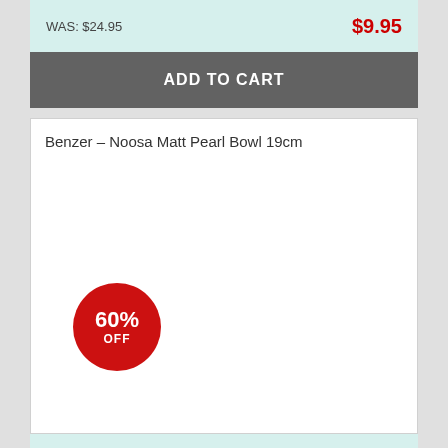WAS: $24.95   $9.95
ADD TO CART
Benzer – Noosa Matt Pearl Bowl 19cm
[Figure (infographic): Red circular badge showing 60% OFF discount]
WAS: $24.95   $9.95